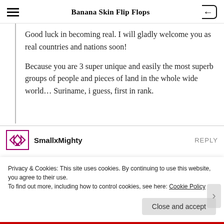Banana Skin Flip Flops
Good luck in becoming real. I will gladly welcome you as real countries and nations soon!
Because you are 3 super unique and easily the most superb groups of people and pieces of land in the whole wide world… Suriname, i guess, first in rank.
SmallxMighty
Privacy & Cookies: This site uses cookies. By continuing to use this website, you agree to their use.
To find out more, including how to control cookies, see here: Cookie Policy